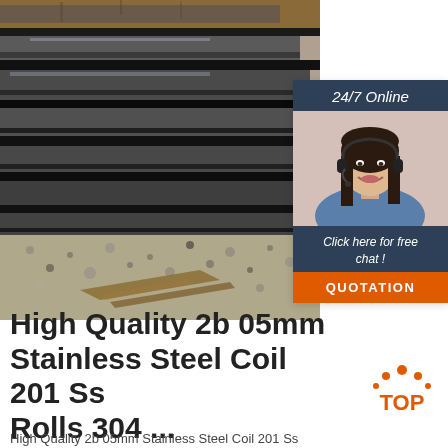[Figure (photo): Close-up photo of stainless steel coil rolls stacked on ground with gravel and wooden debris visible]
[Figure (photo): 24/7 online chat widget showing a smiling woman with headset, dark header with '24/7 Online' text, 'Click here for free chat!' text, and orange QUOTATION button]
High Quality 2b 05mm Stainless Steel Coil 201 Ss Rolls 304 ...
[Figure (logo): Orange dots arc above 'TOP' text logo]
High Quality 2b 05mm Stainless Steel Coil 201 Ss